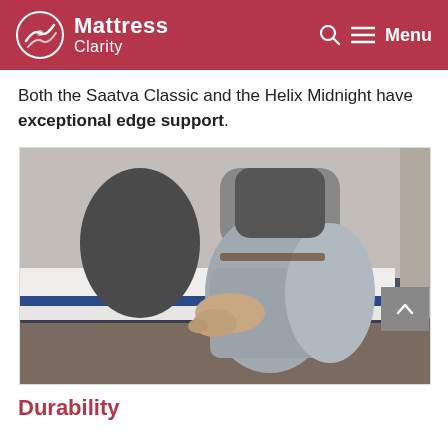Mattress Clarity
Both the Saatva Classic and the Helix Midnight have exceptional edge support.
[Figure (photo): Person sitting on the edge of a mattress, pressing hand on the mattress edge to test edge support. The mattress has a white top, blue side panel, and sits on a dark platform frame.]
Durability